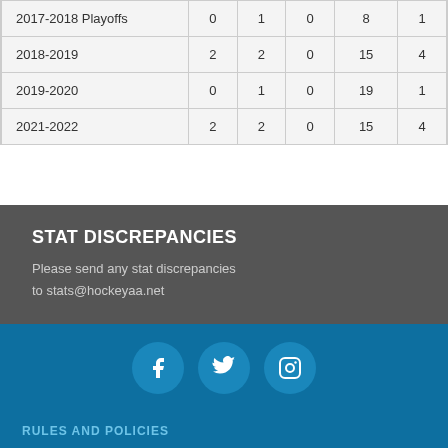| Season |  |  |  |  |  |
| --- | --- | --- | --- | --- | --- |
| 2017-2018 Playoffs | 0 | 1 | 0 | 8 | 1 |
| 2018-2019 | 2 | 2 | 0 | 15 | 4 |
| 2019-2020 | 0 | 1 | 0 | 19 | 1 |
| 2021-2022 | 2 | 2 | 0 | 15 | 4 |
STAT DISCREPANCIES
Please send any stat discrepancies to stats@hockeyaa.net
[Figure (other): Social media icons: Facebook, Twitter, Instagram in blue circles]
RULES AND POLICIES